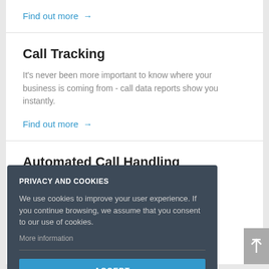Find out more →
Call Tracking
It's never been more important to know where your business is coming from - call data reports show you instantly.
Find out more →
PRIVACY AND COOKIES
We use cookies to improve your user experience. If you continue browsing, we assume that you consent to our use of cookies.
More information
ACCEPT
Automated Call Handling
...handle any number of incoming calls at once
Find out more →